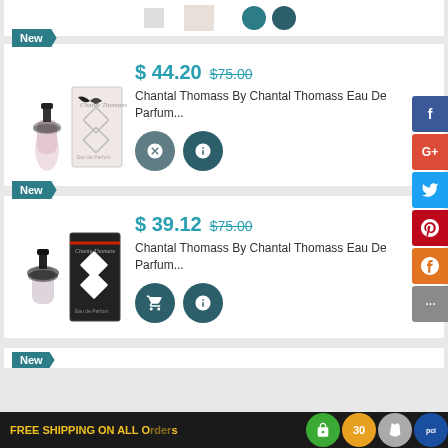[Figure (photo): Partial product listing at top of page, cut off]
New
$ 44.20  $75.00
Chantal Thomass By Chantal Thomass Eau De Parfum...
[Figure (photo): Chantal Thomass perfume bottle and box - light pink edition]
New
$ 39.12  $75.00
Chantal Thomass By Chantal Thomass Eau De Parfum...
[Figure (photo): Chantal Thomass perfume bottle and box - dark/black edition]
FREE SHIPPING ON ALL O...s
[Figure (infographic): Trust/payment icons: padlock green, 30-day, Shopify, PCI]